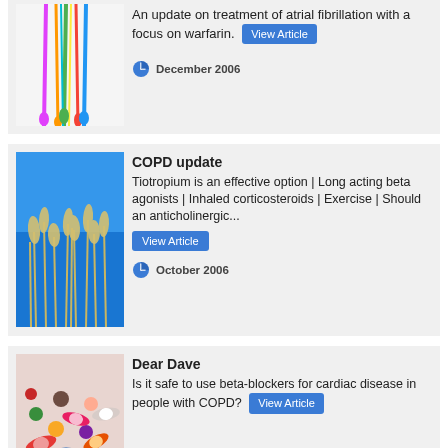[Figure (photo): Colorful abstract paint drips artwork — partially visible at top of page]
An update on treatment of atrial fibrillation with a focus on warfarin.
December 2006
[Figure (photo): Photo of dry grass or wheat stalks against a blue sky]
COPD update
Tiotropium is an effective option | Long acting beta agonists | Inhaled corticosteroids | Exercise | Should an anticholinergic...
October 2006
[Figure (photo): Photo of assorted colorful pills and capsules]
Dear Dave
Is it safe to use beta-blockers for cardiac disease in people with COPD?